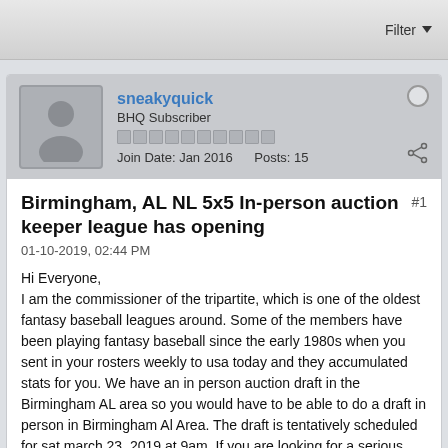Filter ▼
[Figure (illustration): Default user avatar silhouette in gray]
sneakyquick
BHQ Subscriber
Join Date: Jan 2016   Posts: 15
Birmingham, AL NL 5x5 In-person auction keeper league has opening
#1
01-10-2019, 02:44 PM
Hi Everyone,
I am the commissioner of the tripartite, which is one of the oldest fantasy baseball leagues around. Some of the members have been playing fantasy baseball since the early 1980s when you sent in your rosters weekly to usa today and they accumulated stats for you. We have an in person auction draft in the Birmingham AL area so you would have to be able to do a draft in person in Birmingham Al Area. The draft is tentatively scheduled for sat march 23, 2019 at 9am. If you are looking for a serious league with long term keepers and owners, let me know. Usually we do not have any openings, but this year for various reasons, we will have 1 opening.